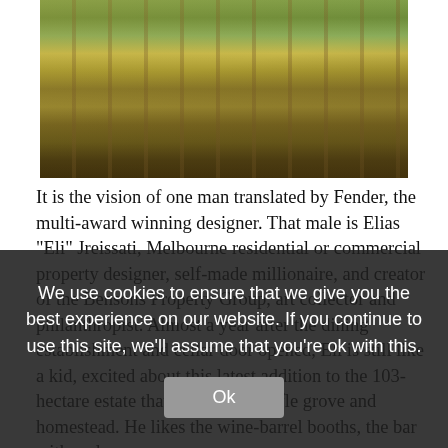[Figure (photo): Vineyard rows with wooden posts, green and golden foliage, aerial/angled view of a winery estate.]
It is the vision of one man translated by Fender, the multi-award winning designer. That male is Elias “Eli” Jreissati, Melbourne residential or commercial property designer, self-made millionaire, and creator of the Bensons Property Group, art collector and philanthropist. Almost a year after the dining establishment and cellar door opened, Eli is still like a kid, excited about this latest addition to the 103-hectare estate that includes a truffle grove and homestead. He likes the wine-barrel booths, the bar with and
We use cookies to ensure that we give you the best experience on our website. If you continue to use this site, we’ll assume that you’re ok with this.
Anja de Medspa, one of Me e’s 3 creators, was included from the beginnin ning from an architecture background rather than design training, Anja turned her